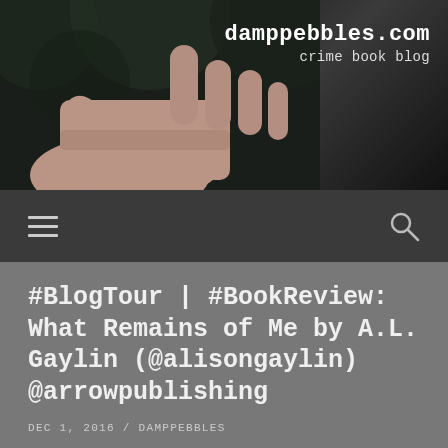[Figure (photo): Header banner image showing a dark background with a human hand reaching out from the left side, and the website name 'damppebbles.com crime book blog' displayed in white monospace text on the right]
damppebbles.com
crime book blog
[Figure (screenshot): Navigation bar with hamburger menu icon on the left and search (magnifying glass) icon on the right, dark grey background]
#BlogTour | #BookReview: What Remains of Me by A.L. Gaylin (@alisongaylin) @arrowpublishing
DEC 1, 2016 / DAMPPEBBLES